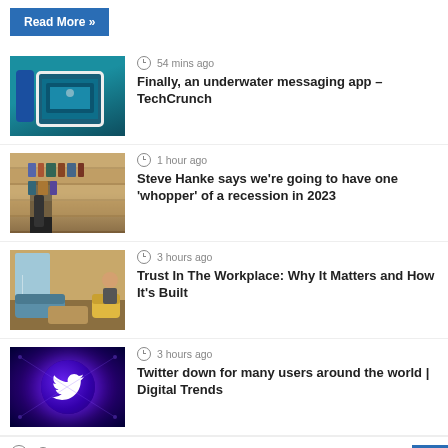Read More »
54 mins ago
[Figure (photo): Person holding a tablet underwater in a pool]
Finally, an underwater messaging app – TechCrunch
1 hour ago
[Figure (photo): Person walking in a library with shelves of books/boxes]
Steve Hanke says we're going to have one 'whopper' of a recession in 2023
3 hours ago
[Figure (photo): Office lounge area with chairs and a coffee table]
Trust In The Workplace: Why It Matters and How It's Built
3 hours ago
[Figure (photo): Twitter bird logo glowing blue/purple on dark background]
Twitter down for many users around the world | Digital Trends
1 hour ago
Senator Warren 'Very Worried' About Federal Reserve Raising Interest Rates, Tipping US